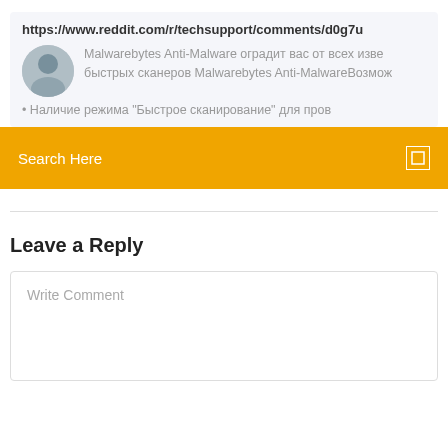https://www.reddit.com/r/techsupport/comments/d0g7u
Malwarebytes Anti-Malware оградит вас от всех изве... быстрых сканеров Malwarebytes Anti-MalwareВозмож...
• Наличие режима "Быстрое сканирование" для пров...
Search Here
Leave a Reply
Write Comment